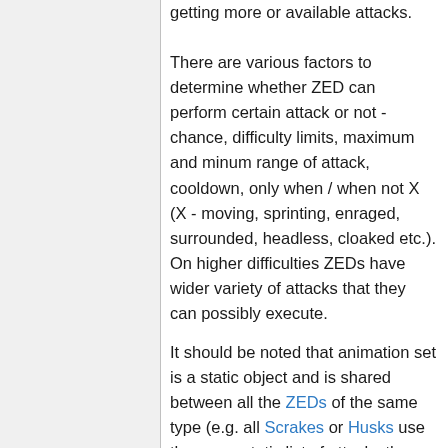getting more or available attacks. There are various factors to determine whether ZED can perform certain attack or not - chance, difficulty limits, maximum and minum range of attack, cooldown, only when / when not X (X - moving, sprinting, enraged, surrounded, headless, cloaked etc.). On higher difficulties ZEDs have wider variety of attacks that they can possibly execute.
It should be noted that animation set is a static object and is shared between all the ZEDs of the same type (e.g. all Scrakes or Husks use the same static list of attacks they can pull out) unlike, for example, health or movement speed which are rather handled on the per-ZED basis. If certain attack in the list has global cooldown and one of the ZEDs has already played it recently, the game